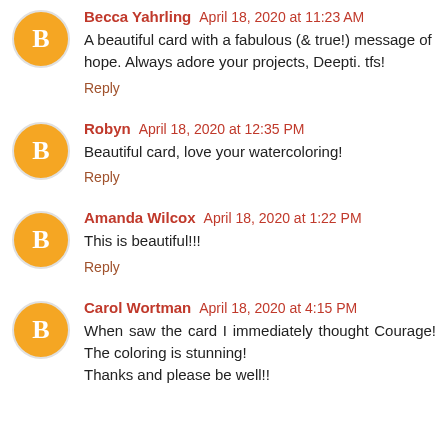Becca Yahrling April 18, 2020 at 11:23 AM
A beautiful card with a fabulous (& true!) message of hope. Always adore your projects, Deepti. tfs!
Reply
Robyn April 18, 2020 at 12:35 PM
Beautiful card, love your watercoloring!
Reply
Amanda Wilcox April 18, 2020 at 1:22 PM
This is beautiful!!!
Reply
Carol Wortman April 18, 2020 at 4:15 PM
When saw the card I immediately thought Courage! The coloring is stunning!
Thanks and please be well!!